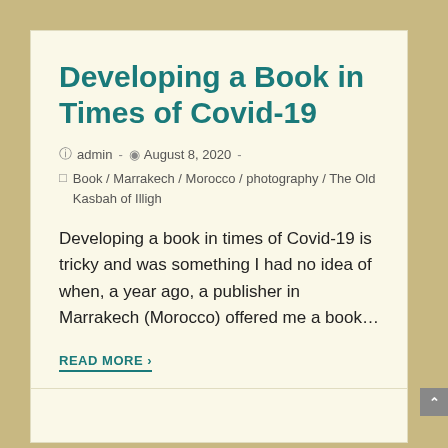Developing a Book in Times of Covid-19
admin  -  August 8, 2020  -
Book / Marrakech / Morocco / photography / The Old Kasbah of Illigh
Developing a book in times of Covid-19 is tricky and was something I had no idea of when, a year ago, a publisher in Marrakech (Morocco) offered me a book…
READ MORE ›